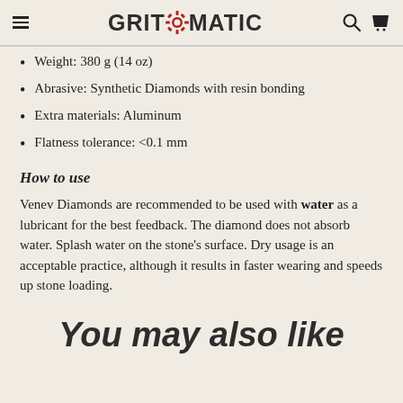GRITOMATIC
Weight: 380 g (14 oz)
Abrasive: Synthetic Diamonds with resin bonding
Extra materials: Aluminum
Flatness tolerance: <0.1 mm
How to use
Venev Diamonds are recommended to be used with water as a lubricant for the best feedback. The diamond does not absorb water. Splash water on the stone's surface. Dry usage is an acceptable practice, although it results in faster wearing and speeds up stone loading.
You may also like